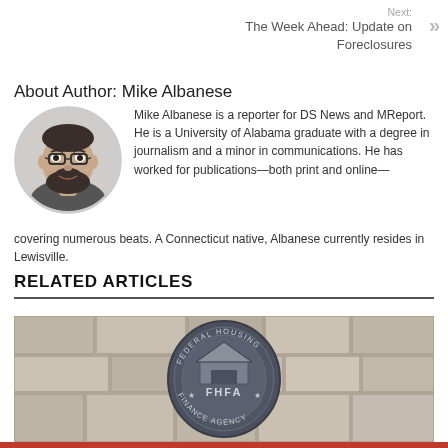Next: The Week Ahead: Update on Foreclosures
About Author: Mike Albanese
[Figure (photo): Black and white circular portrait photo of Mike Albanese, a man with glasses and a beard, smiling]
Mike Albanese is a reporter for DS News and MReport. He is a University of Alabama graduate with a degree in journalism and a minor in communications. He has worked for publications—both print and online—covering numerous beats. A Connecticut native, Albanese currently resides in Lewisville.
RELATED ARTICLES
[Figure (photo): Photo of the Federal Housing Finance Agency (FHFA) seal/logo on a stone wall. The circular seal reads 'Federal Housing Finance Agency' with 'FHFA' in the center and a house icon.]